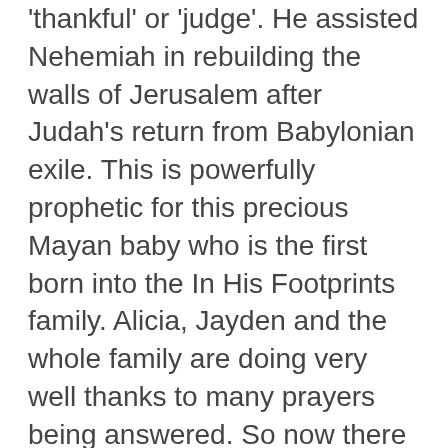'thankful' or 'judge'. He assisted Nehemiah in rebuilding the walls of Jerusalem after Judah's return from Babylonian exile. This is powerfully prophetic for this precious Mayan baby who is the first born into the In His Footprints family. Alicia, Jayden and the whole family are doing very well thanks to many prayers being answered. So now there are six Pops: Lazarus and Alicia and their four children Jason, Julie, Duvon, and Jayden. [/vc_column_text][mk_fancy_title tag_name="h2" style="false" color="#393836" size="16" font_weight="inherit" font_style="inhert" letter_spacing="0" margin_top="0" margin_bottom="14"